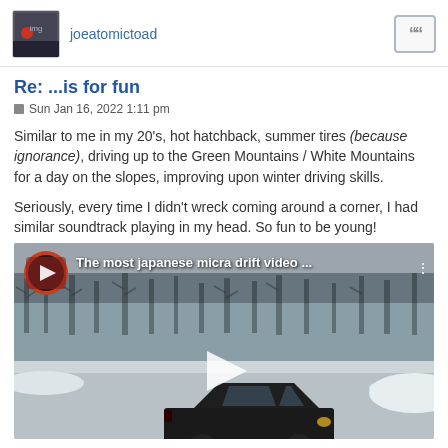joeatomictoad
Re: ...is for fun
Sun Jan 16, 2022 1:11 pm
Similar to me in my 20's, hot hatchback, summer tires (because ignorance), driving up to the Green Mountains / White Mountains for a day on the slopes, improving upon winter driving skills.
Seriously, every time I didn't wreck coming around a corner, I had similar soundtrack playing in my head. So fun to be young!
[Figure (screenshot): Embedded YouTube video thumbnail showing a small black hatchback car drifting on a snowy road, titled 'The most japanese micra drift video ...']